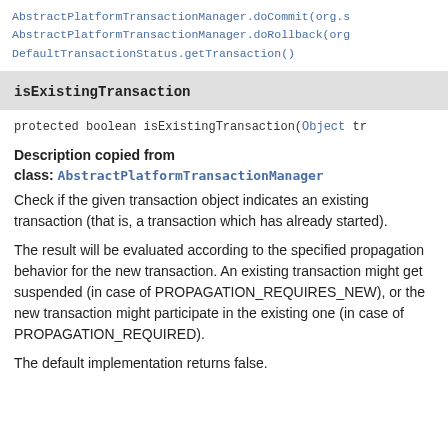AbstractPlatformTransactionManager.doCommit(org.s
AbstractPlatformTransactionManager.doRollback(org
DefaultTransactionStatus.getTransaction()
isExistingTransaction
protected boolean isExistingTransaction(Object tr
Description copied from class: AbstractPlatformTransactionManager
Check if the given transaction object indicates an existing transaction (that is, a transaction which has already started).
The result will be evaluated according to the specified propagation behavior for the new transaction. An existing transaction might get suspended (in case of PROPAGATION_REQUIRES_NEW), or the new transaction might participate in the existing one (in case of PROPAGATION_REQUIRED).
The default implementation returns false.